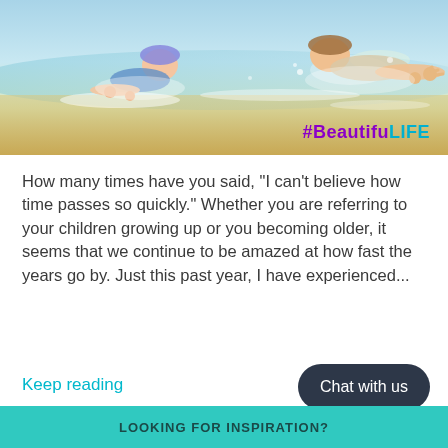[Figure (photo): Two children lying on a beach shoreline, splashing in shallow water. Sunny day at the beach. Hashtag #BeautifulLIFE overlaid in bottom right corner in purple and teal text.]
How many times have you said, "I can't believe how time passes so quickly."  Whether you are referring to your children growing up or you becoming older, it seems that we continue to be amazed at how fast the years go by.  Just this past year, I have experienced...
Keep reading
Chat with us
LOOKING FOR INSPIRATION?